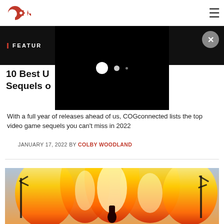COGconnected logo and navigation
FEATUR
10 Best Upcoming Video Game Sequels of 2022
With a full year of releases ahead of us, COGconnected lists the top video game sequels you can't miss in 2022
JANUARY 17, 2022 BY COLBY WOODLAND
[Figure (photo): Person standing in front of large fire and flames, viewed from behind]